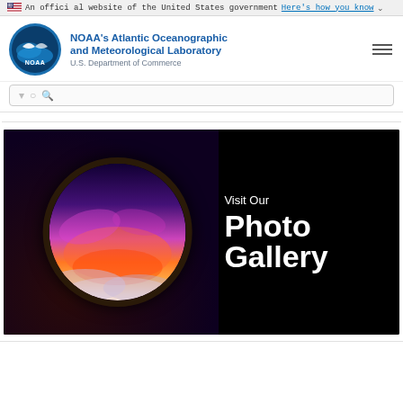An official website of the United States government Here's how you know ˅
[Figure (logo): NOAA circular logo with blue/white design and text 'NOAA' inside]
NOAA's Atlantic Oceanographic and Meteorological Laboratory
U.S. Department of Commerce
Search bar area (partially visible)
[Figure (photo): Promotional banner showing a circular airplane porthole window with a dramatic sunset/sunrise sky view over clouds. Text on black background reads 'Visit Our Photo Gallery']